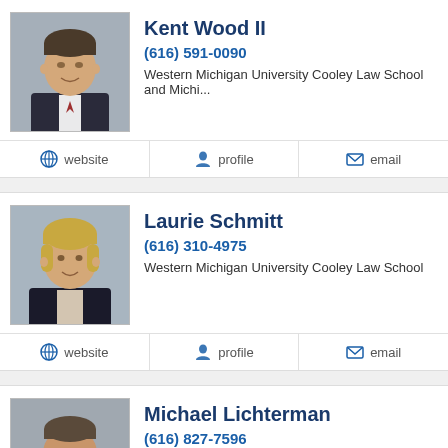Kent Wood II
(616) 591-0090
Western Michigan University Cooley Law School and Michi...
website | profile | email
Laurie Schmitt
(616) 310-4975
Western Michigan University Cooley Law School
website | profile | email
Michael Lichterman
(616) 827-7596
Western Michigan University Cooley Law School
website | profile | email